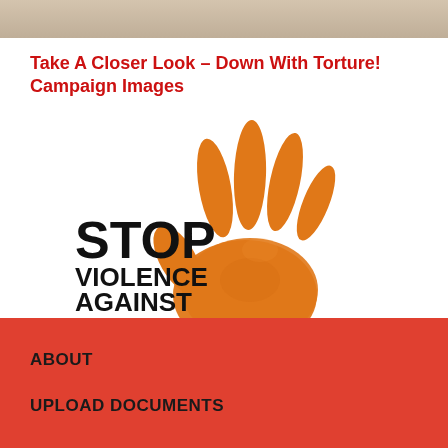[Figure (photo): Partial photo of a person, cropped at top of page]
Take A Closer Look – Down With Torture! Campaign Images
[Figure (illustration): Stop Violence Against Women campaign image: orange handprint with bold black text reading STOP VIOLENCE AGAINST WOMEN]
ABOUT
UPLOAD DOCUMENTS